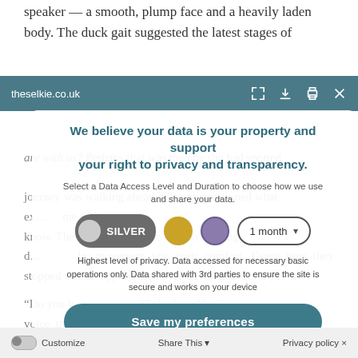speaker — a smooth, plump face and a heavily laden body. The duck gait suggested the latest stages of
theselkie.co.uk
are with us? Perhaps that was the one she had spotted
We believe your data is your property and support your right to privacy and transparency.
Select a Data Access Level and Duration to choose how we use and share your data.
SILVER | 1 month
Highest level of privacy. Data accessed for necessary basic operations only. Data shared with 3rd parties to ensure the site is secure and works on your device
journey was walking ahead. Oksana questioned what
know. The column of people was proceeding in the
stopped was an opportunity to dwell on their destiny.
“Do you… found her voice th… ldensing inside her shawl.
Save my preferences
Customize  Share This  Privacy policy